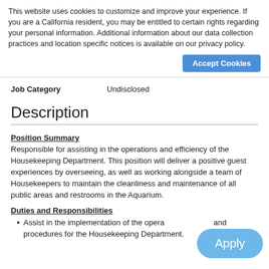This website uses cookies to customize and improve your experience. If you are a California resident, you may be entitled to certain rights regarding your personal information. Additional information about our data collection practices and location specific notices is available on our privacy policy.
Accept Cookies
| Job Category | Undisclosed |
| --- | --- |
Description
Position Summary
Responsible for assisting in the operations and efficiency of the Housekeeping Department. This position will deliver a positive guest experiences by overseeing, as well as working alongside a team of Housekeepers to maintain the cleanliness and maintenance of all public areas and restrooms in the Aquarium.
Duties and Responsibilities
Assist in the implementation of the opera... and procedures for the Housekeeping Department.
Apply